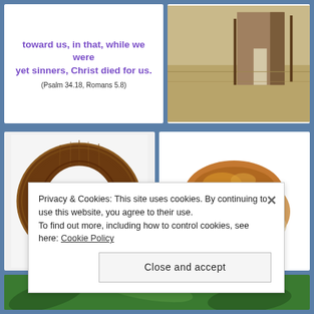toward us, in that, while we were yet sinners, Christ died for us.
(Psalm 34.18, Romans 5.8)
[Figure (photo): Sepia-toned photo of an old barn or shed with dry grass in the foreground]
[Figure (photo): Wooden letter O with rustic barn-wood texture on white background]
[Figure (photo): Artisan bread loaf on white background]
[Figure (photo): Partial view of green leaves or plant at bottom of page]
Privacy & Cookies: This site uses cookies. By continuing to use this website, you agree to their use.
To find out more, including how to control cookies, see here: Cookie Policy
Close and accept